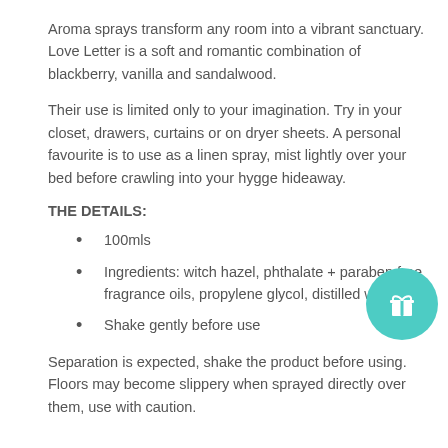Aroma sprays transform any room into a vibrant sanctuary. Love Letter is a soft and romantic combination of blackberry, vanilla and sandalwood.
Their use is limited only to your imagination. Try in your closet, drawers, curtains or on dryer sheets. A personal favourite is to use as a linen spray, mist lightly over your bed before crawling into your hygge hideaway.
THE DETAILS:
100mls
Ingredients: witch hazel, phthalate + paraben free fragrance oils, propylene glycol, distilled water
Shake gently before use
Separation is expected, shake the product before using. Floors may become slippery when sprayed directly over them, use with caution.
[Figure (illustration): Teal/turquoise circular button with a white gift box icon]